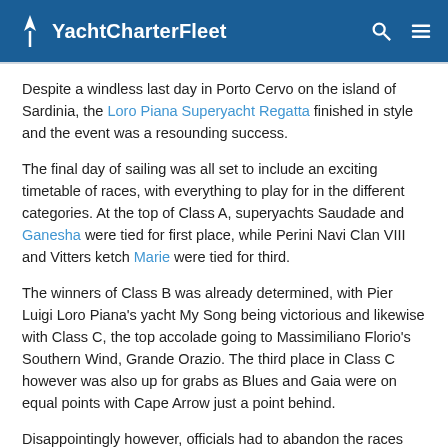YachtCharterFleet
Despite a windless last day in Porto Cervo on the island of Sardinia, the Loro Piana Superyacht Regatta finished in style and the event was a resounding success.
The final day of sailing was all set to include an exciting timetable of races, with everything to play for in the different categories. At the top of Class A, superyachts Saudade and Ganesha were tied for first place, while Perini Navi Clan VIII and Vitters ketch Marie were tied for third.
The winners of Class B was already determined, with Pier Luigi Loro Piana's yacht My Song being victorious and likewise with Class C, the top accolade going to Massimiliano Florio's Southern Wind, Grande Orazio. The third place in Class C however was also up for grabs as Blues and Gaia were on equal points with Cape Arrow just a point behind.
Disappointingly however, officials had to abandon the races and all the excitement, as it was clear the wind was not going to materialise enough to make it fair.